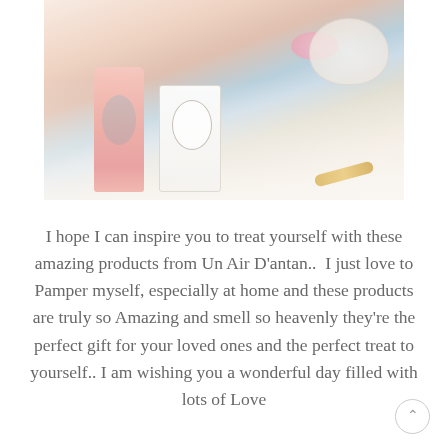[Figure (photo): A styled flatlay photo showing pink beauty/perfume products from Un Air D'antan including a pink liquid bottle and a white product box with flamingo/cherry blossom design, pink macarons, a floral teacup, gold accents, all arranged on white fabric.]
I hope I can inspire you to treat yourself with these amazing products from Un Air D'antan..  I just love to Pamper myself, especially at home and these products are truly so Amazing and smell so heavenly they're the perfect gift for your loved ones and the perfect treat to yourself.. I am wishing you a wonderful day filled with lots of Love